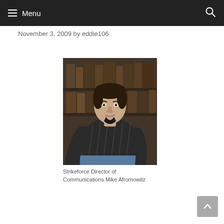Menu
November 3, 2009 by eddie106
[Figure (photo): A man wearing a dark striped shirt and jeans, sitting in front of a bookshelf background.]
Strikeforce Director of Communications Mike Afromowitz